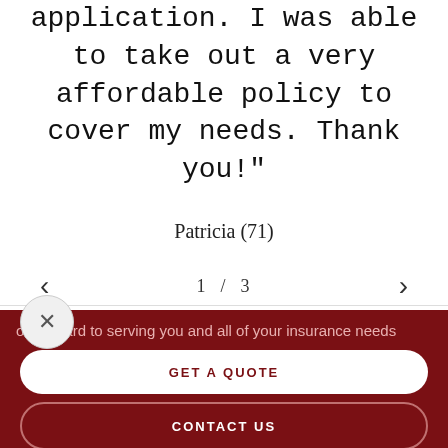application. I was able to take out a very affordable policy to cover my needs. Thank you!"
Patricia (71)
1 / 3
ok forward to serving you and all of your insurance needs
GET A QUOTE
CONTACT US